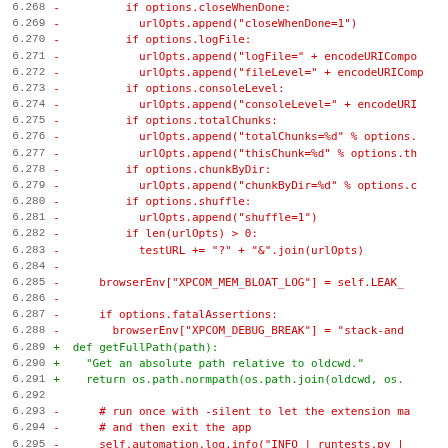[Figure (screenshot): Diff/patch view of Python source code showing removed lines (red, prefixed with -) and added lines (green, prefixed with +), with line numbers from 6.268 to 6.299]